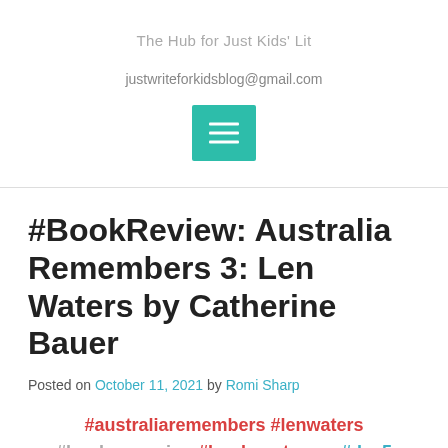The Hub for Just Kids' Lit
justwriteforkidsblog@gmail.com
[Figure (other): Teal/green hamburger menu button icon with three white horizontal lines]
#BookReview: Australia Remembers 3: Len Waters by Catherine Bauer
Posted on October 11, 2021 by Romi Sharp
#australiaremembers #lenwaters #bookcampaign #booksontourpr #day5